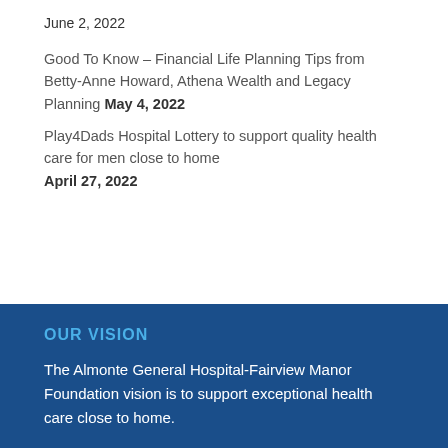June 2, 2022
Good To Know – Financial Life Planning Tips from Betty-Anne Howard, Athena Wealth and Legacy Planning May 4, 2022
Play4Dads Hospital Lottery to support quality health care for men close to home April 27, 2022
OUR VISION
The Almonte General Hospital-Fairview Manor Foundation vision is to support exceptional health care close to home.